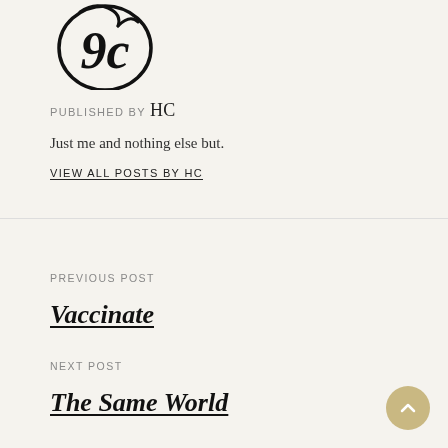[Figure (logo): Circular ornate logo/monogram with the number 92 or letters in decorative script style, black on light background]
PUBLISHED BY HC
Just me and nothing else but.
VIEW ALL POSTS BY HC
PREVIOUS POST
Vaccinate
NEXT POST
The Same World